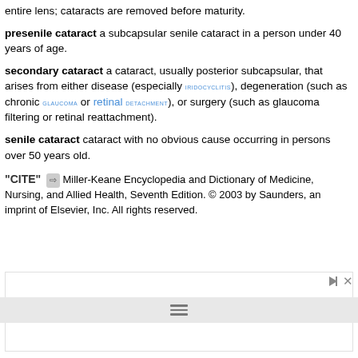entire lens; cataracts are removed before maturity.
presenile cataract a subcapsular senile cataract in a person under 40 years of age.
secondary cataract a cataract, usually posterior subcapsular, that arises from either disease (especially iridocyclitis), degeneration (such as chronic glaucoma or retinal detachment), or surgery (such as glaucoma filtering or retinal reattachment).
senile cataract cataract with no obvious cause occurring in persons over 50 years old.
“CITE” ⇒ Miller-Keane Encyclopedia and Dictionary of Medicine, Nursing, and Allied Health, Seventh Edition. © 2003 by Saunders, an imprint of Elsevier, Inc. All rights reserved.
[Figure (other): Advertisement placeholder box with play and close controls]